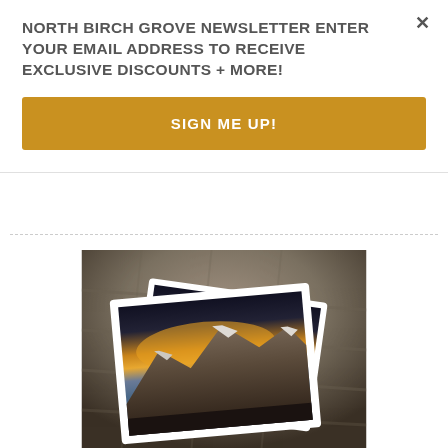NORTH BIRCH GROVE NEWSLETTER ENTER YOUR EMAIL ADDRESS TO RECEIVE EXCLUSIVE DISCOUNTS + MORE!
SIGN ME UP!
[Figure (photo): Photo of ceramic or tile coasters with a mountain landscape sunset photo printed on them, stacked in a woven basket. The top coaster shows snowy mountain peaks with a dramatic golden-orange sunset sky.]